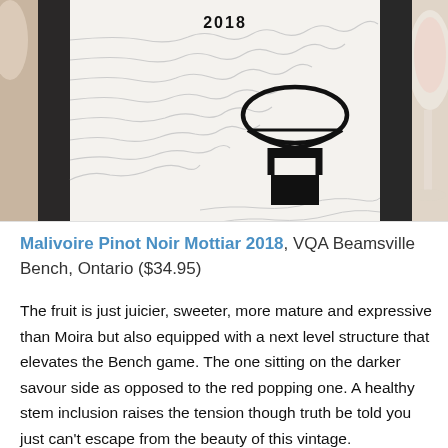[Figure (photo): Close-up photo of a wine bottle label showing 'Malivoire Pinot Noir Mottiar 2018' with topographic contour line design and a stylized pin/location icon in black. The year '2018' is visible at the top of the label. The bottle is dark/black on the sides with a white label. A wine glass is partially visible on the right side and another glass on the left. The surface beneath appears to be a decorative tablecloth or mat.]
Malivoire Pinot Noir Mottiar 2018, VQA Beamsville Bench, Ontario ($34.95)
The fruit is just juicier, sweeter, more mature and expressive than Moira but also equipped with a next level structure that elevates the Bench game. The one sitting on the darker savour side as opposed to the red popping one. A healthy stem inclusion raises the tension though truth be told you just can't escape from the beauty of this vintage.